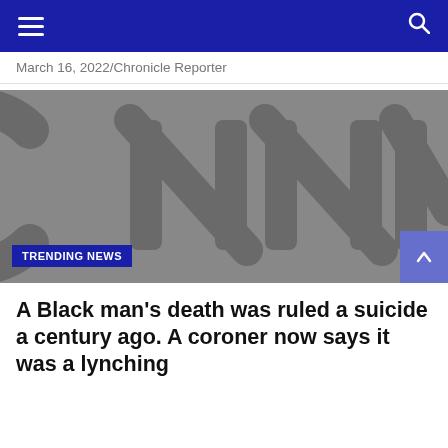Navigation bar with hamburger menu and search icon
March 16, 2022/Chronicle Reporter
[Figure (logo): CNN logo on grey background with TRENDING NEWS badge overlay]
A Black man's death was ruled a suicide a century ago. A coroner now says it was a lynching